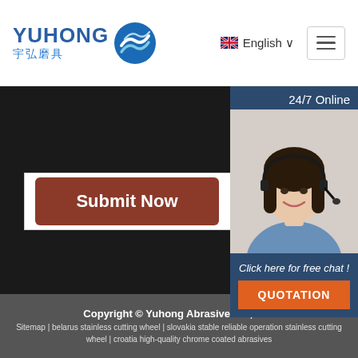[Figure (logo): Yuhong Abrasive company logo with blue wave icon and Chinese characters 宇弘磨具]
English ∨
[Figure (illustration): Hamburger menu button (three horizontal lines)]
[Figure (photo): Customer service representative woman with headset, labeled 24/7 Online, with chat widget]
Submit Now
Click here for free chat !
QUOTATION
Copyright © Yuhong Abrasive Co., Ltd.
Sitemap | belarus stainless cutting wheel | slovakia stable reliable operation stainless cutting wheel | croatia high-quality chrome coated abrasives